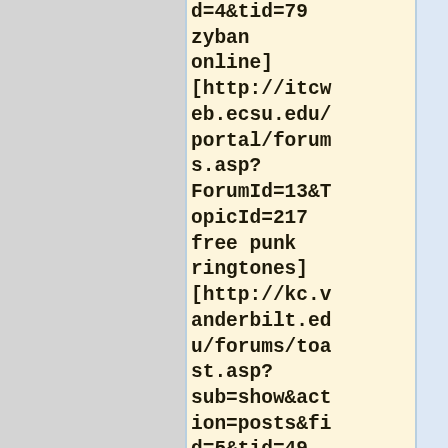d=4&tid=79 zyban online] [http://itcweb.ecsu.edu/portal/forums.asp?ForumId=13&TopicId=217 free punk ringtones] [http://kc.vanderbilt.edu/forums/toast.asp?sub=show&action=posts&fid=5&tid=49 phentermine online] [http://students.hsc.unt